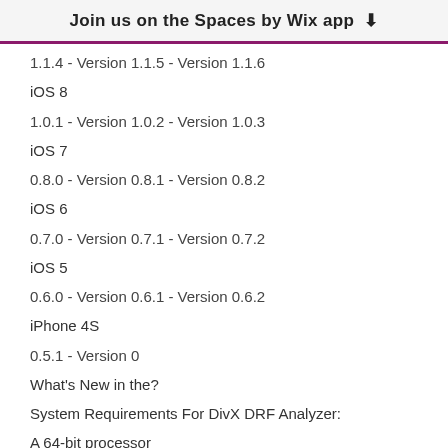Join us on the Spaces by Wix app
1.1.4 - Version 1.1.5 - Version 1.1.6
iOS 8
1.0.1 - Version 1.0.2 - Version 1.0.3
iOS 7
0.8.0 - Version 0.8.1 - Version 0.8.2
iOS 6
0.7.0 - Version 0.7.1 - Version 0.7.2
iOS 5
0.6.0 - Version 0.6.1 - Version 0.6.2
iPhone 4S
0.5.1 - Version 0
What's New in the?
System Requirements For DivX DRF Analyzer:
A 64-bit processor
Windows 7, Windows 8/8.1 or Windows 10 (64-bit)
2GB RAM (minimum)